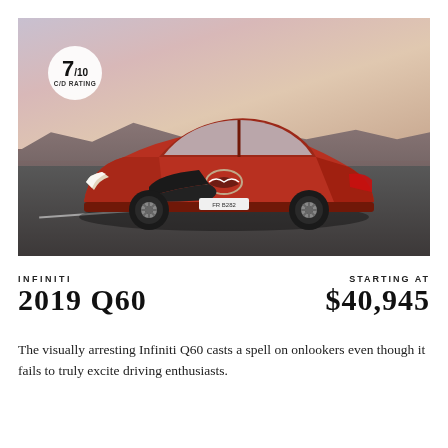[Figure (photo): Red Infiniti Q60 coupe driving on a desert road at dusk with mountains in the background. A white circular badge in the top-left corner shows '7/10 C/D RATING'.]
INFINITI
2019 Q60
STARTING AT
$40,945
The visually arresting Infiniti Q60 casts a spell on onlookers even though it fails to truly excite driving enthusiasts.